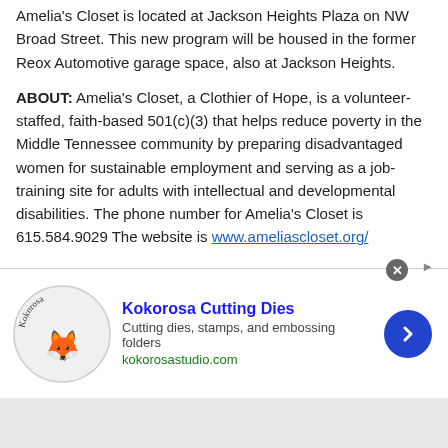Amelia's Closet is located at Jackson Heights Plaza on NW Broad Street. This new program will be housed in the former Reox Automotive garage space, also at Jackson Heights.
ABOUT: Amelia's Closet, a Clothier of Hope, is a volunteer-staffed, faith-based 501(c)(3) that helps reduce poverty in the Middle Tennessee community by preparing disadvantaged women for sustainable employment and serving as a job-training site for adults with intellectual and developmental disabilities. The phone number for Amelia's Closet is 615.584.9029 The website is www.ameliascloset.org/
Tags: Amelia's Closet  clothing  help  homeless  Jody Powers  Murfreesboro  need  nonprofit  volunteer
[Figure (other): Advertisement banner for Kokorosa Cutting Dies featuring a circular logo with a fox illustration and the text 'Kokorosa Cutting Dies', tagline 'Cutting dies, stamps, and embossing folders', website 'kokorosastudio.com', and a blue arrow button. A close button (X) appears in the top right corner.]